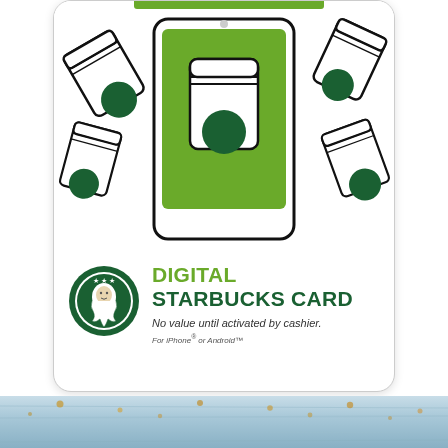[Figure (illustration): Starbucks Digital Card gift card packaging showing illustrated Starbucks cups and a smartphone with a Starbucks cup on screen, with the Starbucks logo and text 'DIGITAL STARBUCKS CARD. No value until activated by cashier. For iPhone or Android.']
[Figure (photo): Bottom strip showing a light blue and white weathered wood plank surface with small gold/orange decorative elements.]